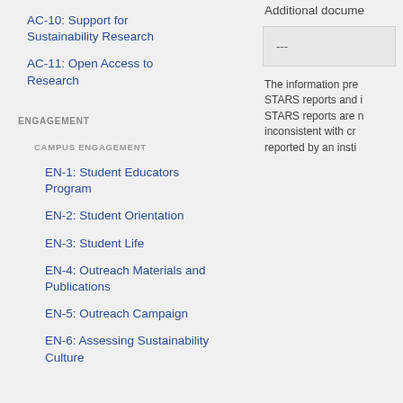AC-10: Support for Sustainability Research
AC-11: Open Access to Research
ENGAGEMENT
CAMPUS ENGAGEMENT
EN-1: Student Educators Program
EN-2: Student Orientation
EN-3: Student Life
EN-4: Outreach Materials and Publications
EN-5: Outreach Campaign
EN-6: Assessing Sustainability Culture
Additional docume
---
The information pre STARS reports and i STARS reports are n inconsistent with cr reported by an insti